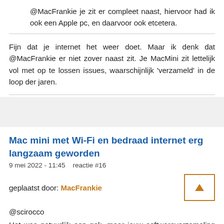@MacFrankie je zit er compleet naast, hiervoor had ik ook een Apple pc, en daarvoor ook etcetera.
Fijn dat je internet het weer doet. Maar ik denk dat @MacFrankie er niet zover naast zit. Je MacMini zit lettelijk vol met op te lossen issues, waarschijnlijk 'verzameld' in de loop der jaren.
Mac mini met Wi-Fi en bedraad internet erg langzaam geworden
9 mei 2022 - 11:45    reactie #16
geplaatst door: MacFrankie
@scirocco
Het was natuurlijk een gok, maar jouw softwareverzameling lijkt op die van iemand die tot op